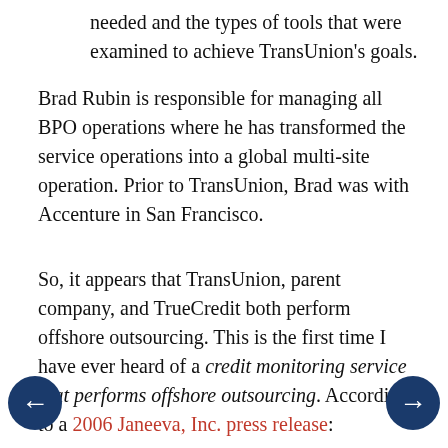needed and the types of tools that were examined to achieve TransUnion's goals.
Brad Rubin is responsible for managing all BPO operations where he has transformed the service operations into a global multi-site operation. Prior to TransUnion, Brad was with Accenture in San Francisco.
So, it appears that TransUnion, parent company, and TrueCredit both perform offshore outsourcing. This is the first time I have ever heard of a credit monitoring service that performs offshore outsourcing. According to a 2006 Janeeva, Inc. press release: